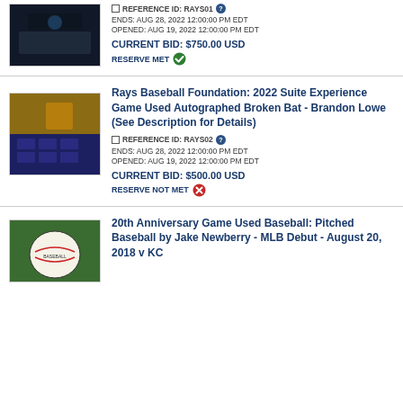[Figure (photo): Dark indoor venue image, top of page]
REFERENCE ID: RAYS01
ENDS: AUG 28, 2022 12:00:00 PM EDT
OPENED: AUG 19, 2022 12:00:00 PM EDT
CURRENT BID: $750.00 USD
RESERVE MET
Rays Baseball Foundation: 2022 Suite Experience Game Used Autographed Broken Bat - Brandon Lowe (See Description for Details)
[Figure (photo): Suite venue interior photo with tables and arena seating]
REFERENCE ID: RAYS02
ENDS: AUG 28, 2022 12:00:00 PM EDT
OPENED: AUG 19, 2022 12:00:00 PM EDT
CURRENT BID: $500.00 USD
RESERVE NOT MET
20th Anniversary Game Used Baseball: Pitched Baseball by Jake Newberry - MLB Debut - August 20, 2018 v KC
[Figure (photo): Baseball on green grass background]